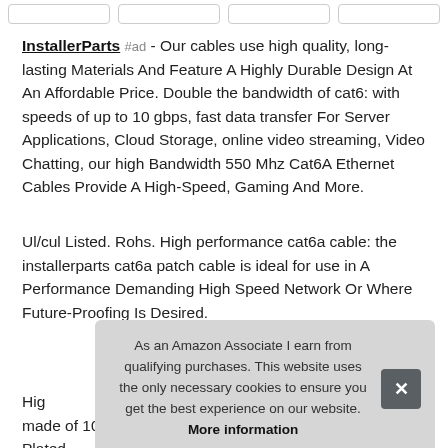[Figure (screenshot): Top navigation tab buttons (partial, cropped at top)]
InstallerParts #ad - Our cables use high quality, long-lasting Materials And Feature A Highly Durable Design At An Affordable Price. Double the bandwidth of cat6: with speeds of up to 10 gbps, fast data transfer For Server Applications, Cloud Storage, online video streaming, Video Chatting, our high Bandwidth 550 Mhz Cat6A Ethernet Cables Provide A High-Speed, Gaming And More.
Ul/cul Listed. Rohs. High performance cat6a cable: the installerparts cat6a patch cable is ideal for use in A Performance Demanding High Speed Network Or Where Future-Proofing Is Desired.
As an Amazon Associate I earn from qualifying purchases. This website uses the only necessary cookies to ensure you get the best experience on our website. More information
High... made of 100% bare copper wire with 50 Micron Gold Plated